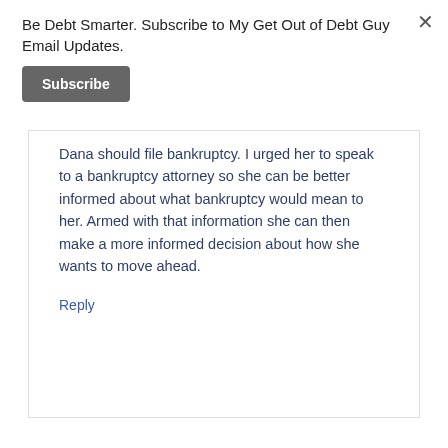Be Debt Smarter. Subscribe to My Get Out of Debt Guy Email Updates.
Subscribe
Dana should file bankruptcy. I urged her to speak to a bankruptcy attorney so she can be better informed about what bankruptcy would mean to her. Armed with that information she can then make a more informed decision about how she wants to move ahead.
Reply